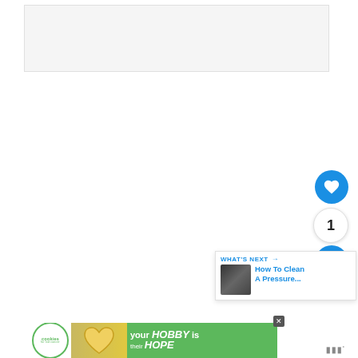[Figure (other): Light gray empty content area at the top of the page]
[Figure (other): Blue circular heart/like button]
1
[Figure (other): Blue circular share button]
[Figure (other): What's Next recommendation box showing 'How To Clean A Pressure...']
[Figure (other): Advertisement banner: 'your HOBBY is their HOPE' - cookies for kid cancer, with close button and Mediavine logo]